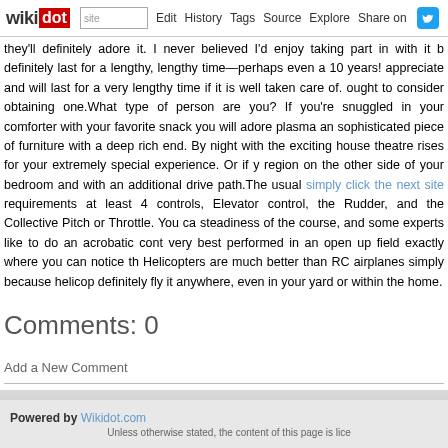wikidot | site | Edit | History | Tags | Source | Explore | Share on [Twitter]
they'll definitely adore it. I never believed I'd enjoy taking part in with it but definitely last for a lengthy, lengthy time—perhaps even a 10 years! appreciate and will last for a very lengthy time if it is well taken care of. ought to consider obtaining one.What type of person are you? If you're snuggled in your comforter with your favorite snack you will adore plasma an sophisticated piece of furniture with a deep rich end. By night with the exciting house theatre rises for your extremely special experience. Or if ye region on the other side of your bedroom and with an additional drive path.The usual simply click the next site requirements at least 4 controls, Elevator control, the Rudder, and the Collective Pitch or Throttle. You ca steadiness of the course, and some experts like to do an acrobatic cont very best performed in an open up field exactly where you can notice th Helicopters are much better than RC airplanes simply because helicop definitely fly it anywhere, even in your yard or within the home.
Comments: 0
Add a New Comment
page rev | Edit | Tags | History
Powered by Wikidot.com
Unless otherwise stated, the content of this page is lice